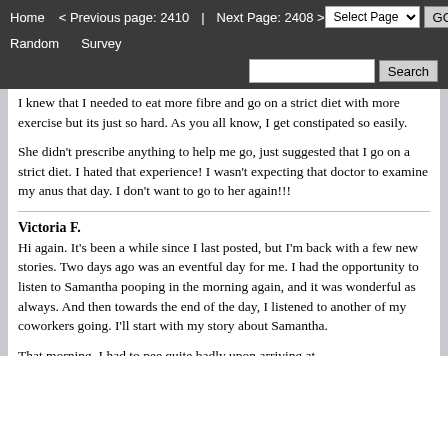Home  < Previous page: 2410  |  Next Page: 2408 >  Random  Survey  Select Page  GO  Search
I knew that I needed to eat more fibre and go on a strict diet with more exercise but its just so hard. As you all know, I get constipated so easily.

She didn't prescribe anything to help me go, just suggested that I go on a strict diet. I hated that experience! I wasn't expecting that doctor to examine my anus that day. I don't want to go to her again!!!
Victoria F.
Hi again. It's been a while since I last posted, but I'm back with a few new stories. Two days ago was an eventful day for me. I had the opportunity to listen to Samantha pooping in the morning again, and it was wonderful as always. And then towards the end of the day, I listened to another of my coworkers going. I'll start with my story about Samantha.
That morning, I had to pee quite badly upon arriving at